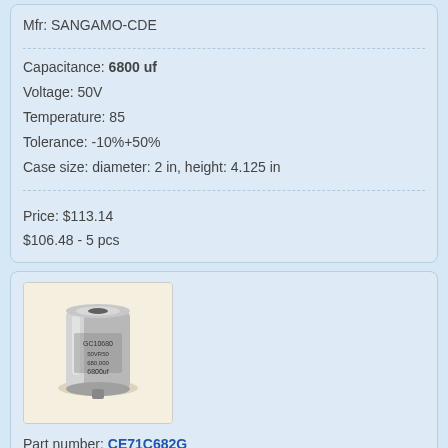Mfr: SANGAMO-CDE
Capacitance: 6800 uf
Voltage: 50V
Temperature: 85
Tolerance: -10%+50%
Case size: diameter: 2 in, height: 4.125 in
Price: $113.14
$106.48 - 5 pcs
[Figure (photo): Photo of a cylindrical electrolytic capacitor (silver/metallic, with printed label), SANGAMO-CDE brand, part CE71C682G]
Part number: CE71C682G
Mfr: SANGAMO-CDE
Capacitance: 6800 uf
Voltage: 50V
Temperature: -
Tolerance: -
Case size: diameter: 2.5 in, height: 3.125 in
Price: $86.52